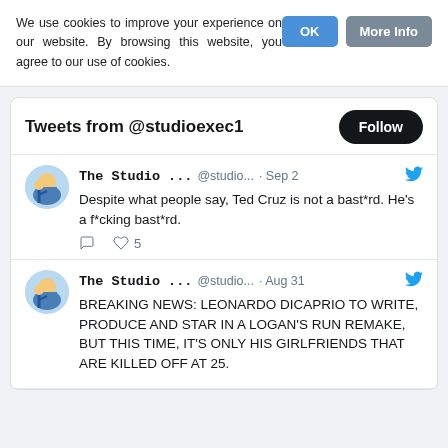We use cookies to improve your experience on our website. By browsing this website, you agree to our use of cookies.
OK
More Info
Tweets from @studioexec1
Follow
The Studio ... @studio... · Sep 2
Despite what people say, Ted Cruz is not a bast*rd. He's a f*cking bast*rd.
♡ 5
The Studio ... @studio... · Aug 31
BREAKING NEWS: LEONARDO DICAPRIO TO WRITE, PRODUCE AND STAR IN A LOGAN'S RUN REMAKE, BUT THIS TIME, IT'S ONLY HIS GIRLFRIENDS THAT ARE KILLED OFF AT 25.